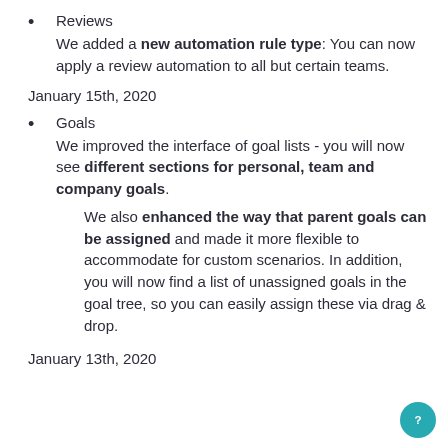Reviews
We added a new automation rule type: You can now apply a review automation to all but certain teams.
January 15th, 2020
Goals
We improved the interface of goal lists - you will now see different sections for personal, team and company goals.
We also enhanced the way that parent goals can be assigned and made it more flexible to accommodate for custom scenarios. In addition, you will now find a list of unassigned goals in the goal tree, so you can easily assign these via drag & drop.
January 13th, 2020